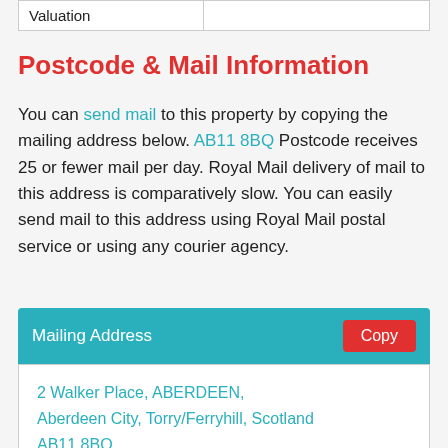| Valuation |  |
| --- | --- |
Postcode & Mail Information
You can send mail to this property by copying the mailing address below. AB11 8BQ Postcode receives 25 or fewer mail per day. Royal Mail delivery of mail to this address is comparatively slow. You can easily send mail to this address using Royal Mail postal service or using any courier agency.
| Mailing Address | Copy |
| --- | --- |
| 2 Walker Place, ABERDEEN,
Aberdeen City, Torry/Ferryhill, Scotland
AB11 8BQ |  |